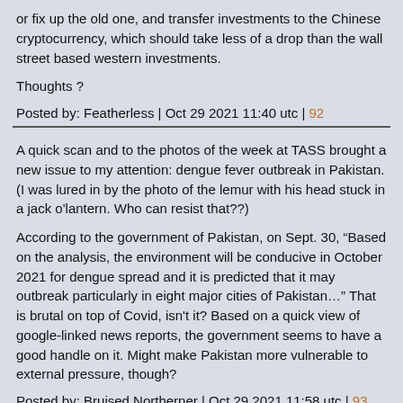or fix up the old one, and transfer investments to the Chinese cryptocurrency, which should take less of a drop than the wall street based western investments.
Thoughts ?
Posted by: Featherless | Oct 29 2021 11:40 utc | 92
A quick scan and to the photos of the week at TASS brought a new issue to my attention: dengue fever outbreak in Pakistan. (I was lured in by the photo of the lemur with his head stuck in a jack o'lantern. Who can resist that??)
According to the government of Pakistan, on Sept. 30, “Based on the analysis, the environment will be conducive in October 2021 for dengue spread and it is predicted that it may outbreak particularly in eight major cities of Pakistan…” That is brutal on top of Covid, isn't it? Based on a quick view of google-linked news reports, the government seems to have a good handle on it. Might make Pakistan more vulnerable to external pressure, though?
Posted by: Bruised Northerner | Oct 29 2021 11:58 utc | 93
Paco @ 81
Astra Zeneca is owned by Wallenberg family. Might as well